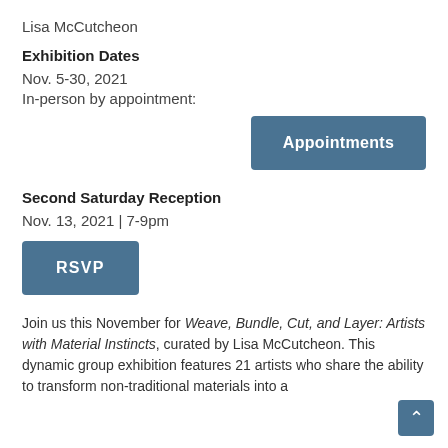Lisa McCutcheon
Exhibition Dates
Nov. 5-30, 2021
In-person by appointment:
[Figure (other): Button labeled 'Appointments' in teal/steel blue]
Second Saturday Reception
Nov. 13, 2021 | 7-9pm
[Figure (other): Button labeled 'RSVP' in teal/steel blue]
Join us this November for Weave, Bundle, Cut, and Layer: Artists with Material Instincts, curated by Lisa McCutcheon. This dynamic group exhibition features 21 artists who share the ability to transform non-traditional materials into a